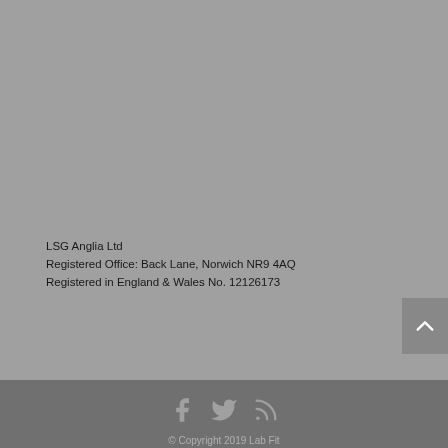LSG Anglia Ltd
Registered Office: Back Lane, Norwich NR9 4AQ
Registered in England & Wales No. 12126173
© Copyright 2019 Lab Fit